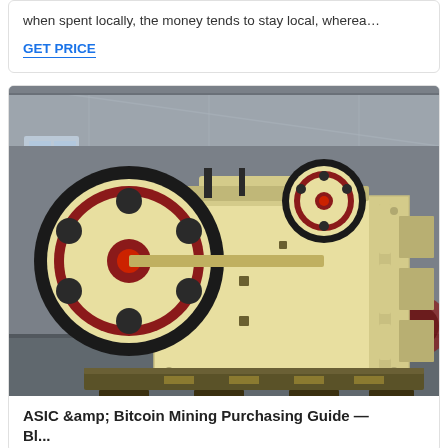when spent locally, the money tends to stay local, wherea…
GET PRICE
[Figure (photo): Industrial jaw crusher machine in a factory setting, painted cream/yellow with large red and black flywheel on the left side, photographed in a warehouse/industrial hall.]
ASIC &amp; Bitcoin Mining Purchasing Guide — Bl...